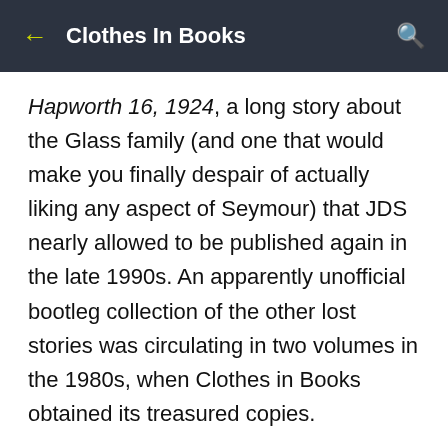Clothes In Books
Hapworth 16, 1924, a long story about the Glass family (and one that would make you finally despair of actually liking any aspect of Seymour) that JDS nearly allowed to be published again in the late 1990s. An apparently unofficial bootleg collection of the other lost stories was circulating in two volumes in the 1980s, when Clothes in Books obtained its treasured copies.
Is there any relevance in his pretending to be blind, asking for help, and apparently being ignored by his mother? Probably not.